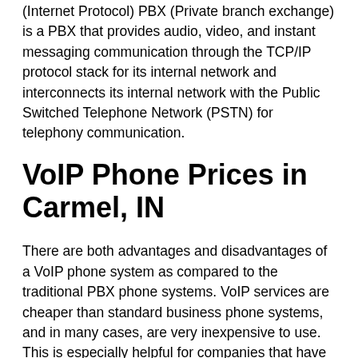(Internet Protocol) PBX (Private branch exchange) is a PBX that provides audio, video, and instant messaging communication through the TCP/IP protocol stack for its internal network and interconnects its internal network with the Public Switched Telephone Network (PSTN) for telephony communication.
VoIP Phone Prices in Carmel, IN
There are both advantages and disadvantages of a VoIP phone system as compared to the traditional PBX phone systems. VoIP services are cheaper than standard business phone systems, and in many cases, are very inexpensive to use. This is especially helpful for companies that have a lot of long-distance and international calling. VoIP can also be accessed anywhere you are able to access the internet. It is ideal for users that travel a lot. Finally